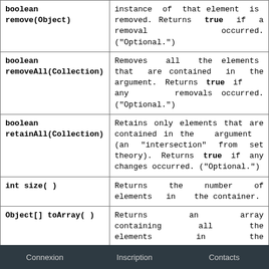| Method | Description |
| --- | --- |
| boolean remove(Object) | instance of that element is removed. Returns true if a removal occurred. ("Optional.") |
| boolean removeAll(Collection) | Removes all the elements that are contained in the argument. Returns true if any removals occurred. ("Optional.") |
| boolean retainAll(Collection) | Retains only elements that are contained in the argument (an "intersection" from set theory). Returns true if any changes occurred. ("Optional.") |
| int size( ) | Returns the number of elements in the container. |
| Object[] toArray( ) | Returns an array containing all the elements in the container. |
|  | Returns an array containing all the elements in the |
Connexion   Inscription   Contacts